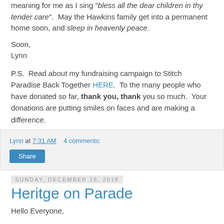meaning for me as I sing "bless all the dear children in thy tender care".  May the Hawkins family get into a permanent home soon, and sleep in heavenly peace.
Soon,
Lynn
P.S.  Read about my fundraising campaign to Stitch Paradise Back Together HERE.  To the many people who have donated so far, thank you, thank you so much.  Your donations are putting smiles on faces and are making a difference.
Lynn at 7:31 AM    4 comments:
Share
Sunday, December 16, 2018
Heritge on Parade
Hello Everyone,